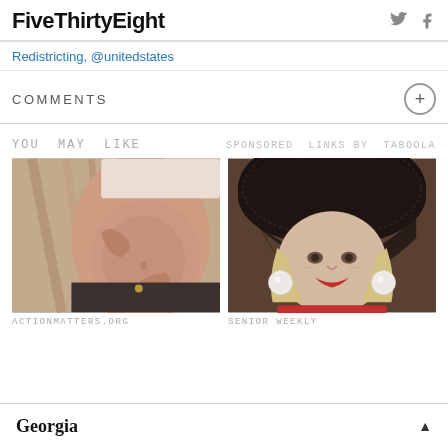FiveThirtyEight
Redistricting, @unitedstates
COMMENTS
YOU MAY LIKE   SPONSORED LINKS BY TABOOLA
[Figure (photo): Close-up photo of a pregnant woman's belly with hands resting on it]
[Figure (photo): Close-up portrait of an elderly woman wearing a dark lace hat and large pearl earrings]
ACTIONMATTERS.ORG
SENIOR WEEKLY
Georgia ▲